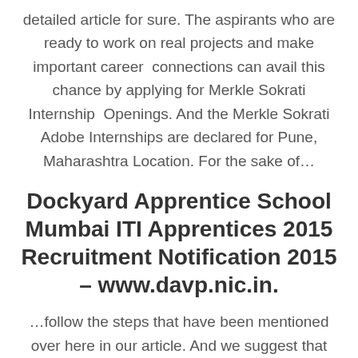detailed article for sure. The aspirants who are ready to work on real projects and make important career connections can avail this chance by applying for Merkle Sokrati Internship Openings. And the Merkle Sokrati Adobe Internships are declared for Pune, Maharashtra Location. For the sake of…
Dockyard Apprentice School Mumbai ITI Apprentices 2015 Recruitment Notification 2015 – www.davp.nic.in.
…follow the steps that have been mentioned over here in our article. And we suggest that all the candidates can apply for the job just few days before the last date because they will be…